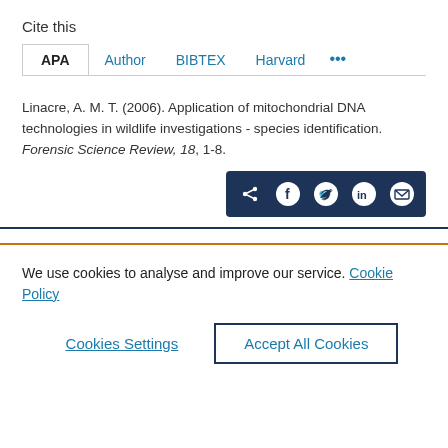Cite this
Linacre, A. M. T. (2006). Application of mitochondrial DNA technologies in wildlife investigations - species identification. Forensic Science Review, 18, 1-8.
[Figure (other): Share icons bar with share, Facebook, Twitter, LinkedIn, and email icons on dark navy background]
We use cookies to analyse and improve our service. Cookie Policy
Cookies Settings    Accept All Cookies